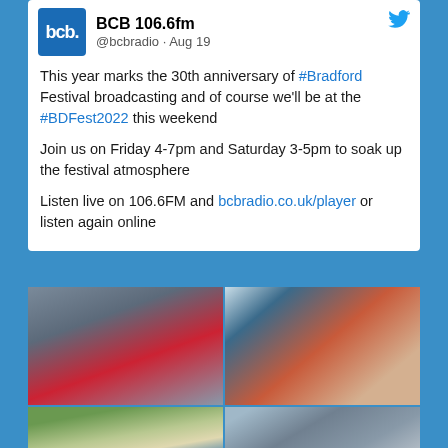BCB 106.6fm @bcbradio · Aug 19
This year marks the 30th anniversary of #Bradford Festival broadcasting and of course we'll be at the #BDFest2022 this weekend

Join us on Friday 4-7pm and Saturday 3-5pm to soak up the festival atmosphere

Listen live on 106.6FM and bcbradio.co.uk/player or listen again online
[Figure (photo): Four photos from Bradford Festival 2022: top-left shows a woman in a red BCB shirt holding a microphone at an outdoor event with crowd behind; top-right shows a woman smiling at camera selfie outdoors; bottom-left and bottom-right show outdoor festival venue buildings.]